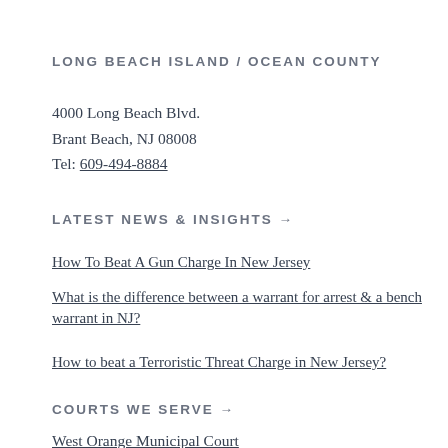LONG BEACH ISLAND / OCEAN COUNTY
4000 Long Beach Blvd.
Brant Beach, NJ 08008
Tel: 609-494-8884
LATEST NEWS & INSIGHTS →
How To Beat A Gun Charge In New Jersey
What is the difference between a warrant for arrest & a bench warrant in NJ?
How to beat a Terroristic Threat Charge in New Jersey?
COURTS WE SERVE →
West Orange Municipal Court